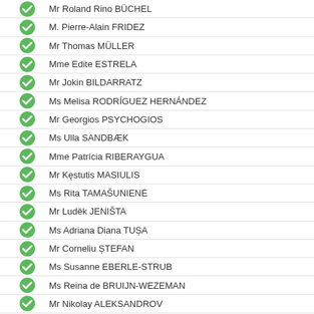Mr Roland Rino BÜCHEL
M. Pierre-Alain FRIDEZ
Mr Thomas MÜLLER
Mme Edite ESTRELA
Mr Jokin BILDARRATZ
Ms Melisa RODRÍGUEZ HERNÁNDEZ
Mr Georgios PSYCHOGIOS
Ms Ulla SANDBÆK
Mme Patrícia RIBERAYGUA
Mr Kęstutis MASIULIS
Ms Rita TAMAŠUNIENĖ
Mr Luděk JENIŠTA
Ms Adriana Diana TUȘA
Mr Corneliu ȘTEFAN
Ms Susanne EBERLE-STRUB
Ms Reina de BRUIJN-WEZEMAN
Mr Nikolay ALEKSANDROV